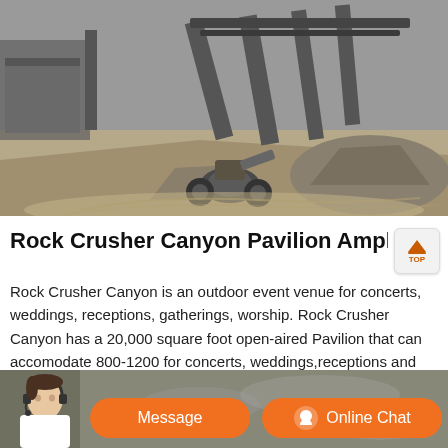[Figure (photo): Black and white photo of a rock crushing industrial site with heavy equipment, conveyor structures, and piles of crushed rock/gravel in an outdoor setting.]
Rock Crusher Canyon Pavilion Amphitheater 275 S R
Rock Crusher Canyon is an outdoor event venue for concerts, weddings, receptions, gatherings, worship. Rock Crusher Canyon has a 20,000 square foot open-aired Pavilion that can accomodate 800-1200 for concerts, weddings,receptions and various gatherings.
[Figure (photo): Bottom partial image showing a customer service representative and rock/gravel material in the background, with an orange Message button and Online Chat button overlay.]